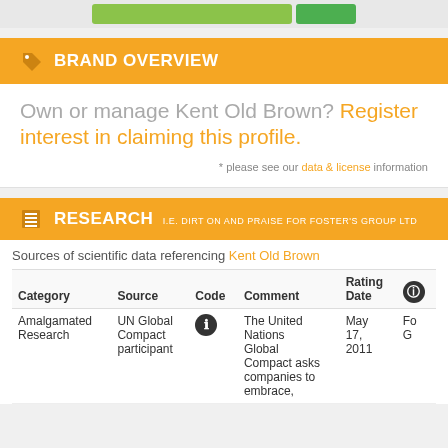[Figure (other): Green progress bar elements at top of page]
BRAND OVERVIEW
Own or manage Kent Old Brown? Register interest in claiming this profile.
* please see our data & license information
RESEARCH I.E. DIRT ON AND PRAISE FOR FOSTER'S GROUP LTD
Sources of scientific data referencing Kent Old Brown
| Category | Source | Code | Comment | Rating Date |  |
| --- | --- | --- | --- | --- | --- |
| Amalgamated Research | UN Global Compact participant | ℹ | The United Nations Global Compact asks companies to embrace, | May 17, 2011 | Fo G |